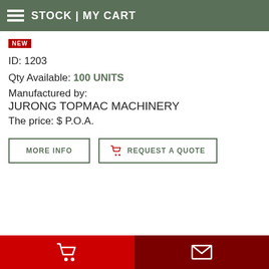STOCK | MY CART
NEW
ID: 1203
Qty Available: 100 UNITS
Manufactured by:
JURONG TOPMAC MACHINERY
The price: $ P.O.A.
MORE INFO
REQUEST A QUOTE